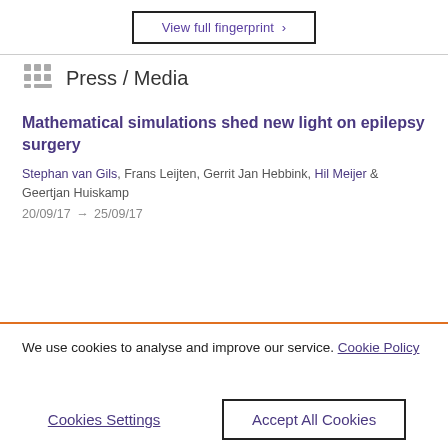View full fingerprint ›
Press / Media
Mathematical simulations shed new light on epilepsy surgery
Stephan van Gils, Frans Leijten, Gerrit Jan Hebbink, Hil Meijer & Geertjan Huiskamp
20/09/17 → 25/09/17
We use cookies to analyse and improve our service. Cookie Policy
Cookies Settings
Accept All Cookies